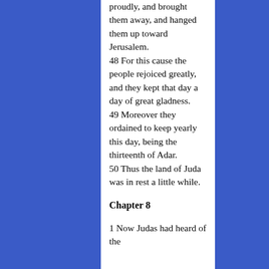proudly, and brought them away, and hanged them up toward Jerusalem. 48 For this cause the people rejoiced greatly, and they kept that day a day of great gladness. 49 Moreover they ordained to keep yearly this day, being the thirteenth of Adar. 50 Thus the land of Juda was in rest a little while.
Chapter 8
1 Now Judas had heard of the